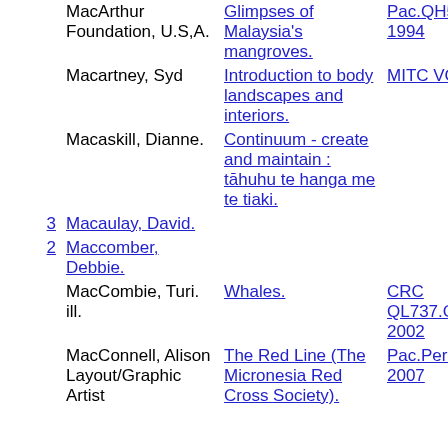| # | Author | Title | Call Number |  |
| --- | --- | --- | --- | --- |
|  | MacArthur Foundation, U.S,A. | Glimpses of Malaysia's mangroves. | Pac.QH541.5.M28G56 1994 | D |
|  | Macartney, Syd | Introduction to body landscapes and interiors. | MITC VC 415 | D |
|  | Macaskill, Dianne. | Continuum - create and maintain : tāhuhu te hanga me te tiaki. |  |  |
| 3 | Macaulay, David. |  |  |  |
| 2 | Maccomber, Debbie. |  |  |  |
|  | MacCombie, Turi. ill. | Whales. | CRC QL737.C4F14 2002 | D |
|  | MacConnell, Alison Layout/Graphic Artist | The Red Line (The Micronesia Red Cross Society). | Pac.PerHV580.F42R42 2007 | D |